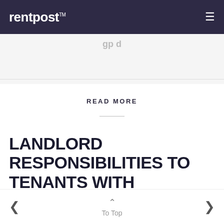rentpost™
gp d
READ MORE
LANDLORD RESPONSIBILITIES TO TENANTS WITH DISABILITIES
< To Top >